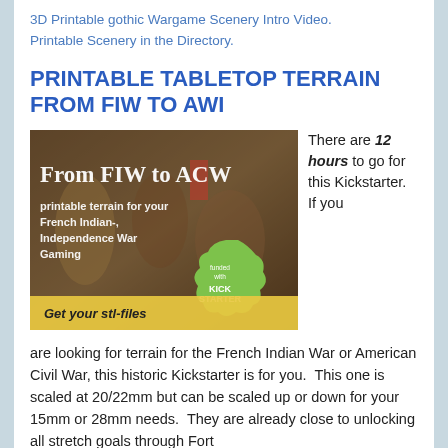3D Printable gothic Wargame Scenery Intro Video. Printable Scenery in the Directory.
PRINTABLE TABLETOP TERRAIN FROM FIW TO AWI
[Figure (photo): Kickstarter campaign banner for 'From FIW to ACW' printable terrain for French Indian- and Independence War gaming. Shows historical painting background with text overlay and Kickstarter funded badge. Tagline: 'Get your stl-files']
There are 12 hours to go for this Kickstarter.  If you are looking for terrain for the French Indian War or American Civil War, this historic Kickstarter is for you.  This one is scaled at 20/22mm but can be scaled up or down for your 15mm or 28mm needs.  They are already close to unlocking all stretch goals through Fort